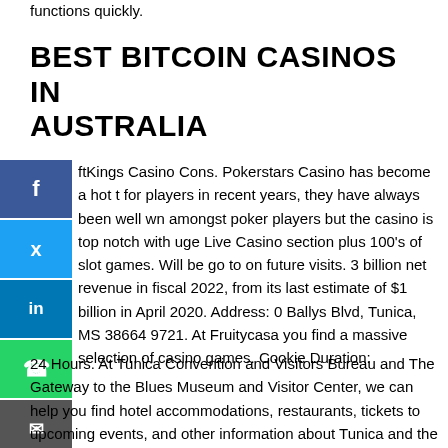functions quickly.
BEST BITCOIN CASINOS IN AUSTRALIA
ftKings Casino Cons. Pokerstars Casino has become a hot t for players in recent years, they have always been well wn amongst poker players but the casino is top notch with uge Live Casino section plus 100's of slot games. Will be go to on future visits. 3 billion net revenue in fiscal 2022, from its last estimate of $1 billion in April 2020. Address: 0 Ballys Blvd, Tunica, MS 38664 9721. At Fruitycasa you find a massive selection of casino games. Cookie Duration: 24 Hours. At Tunica Convention and Visitors Bureau and The Gateway to the Blues Museum and Visitor Center, we can help you find hotel accommodations, restaurants, tickets to upcoming events, and other information about Tunica and the surrounding areas. If playing poker is your thing, Super Slots